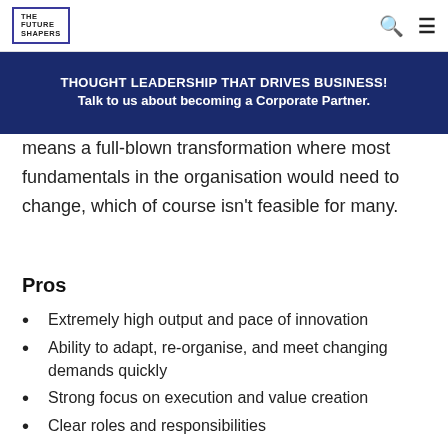THE FUTURE SHAPERS
[Figure (other): Banner with dark blue background containing text: THOUGHT LEADERSHIP THAT DRIVES BUSINESS! Talk to us about becoming a Corporate Partner.]
means a full-blown transformation where most fundamentals in the organisation would need to change, which of course isn't feasible for many.
Pros
Extremely high output and pace of innovation
Ability to adapt, re-organise, and meet changing demands quickly
Strong focus on execution and value creation
Clear roles and responsibilities